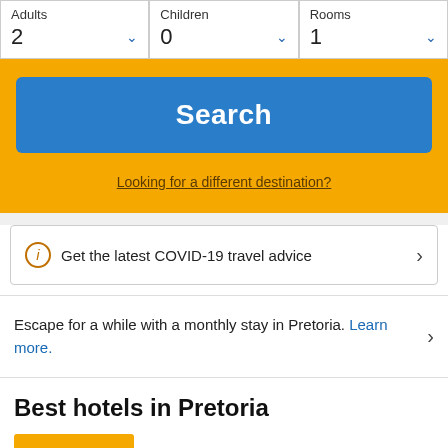Adults 2
Children 0
Rooms 1
Search
Looking for a different destination?
Get the latest COVID-19 travel advice
Escape for a while with a monthly stay in Pretoria. Learn more.
Best hotels in Pretoria
Hotel@Hatfield